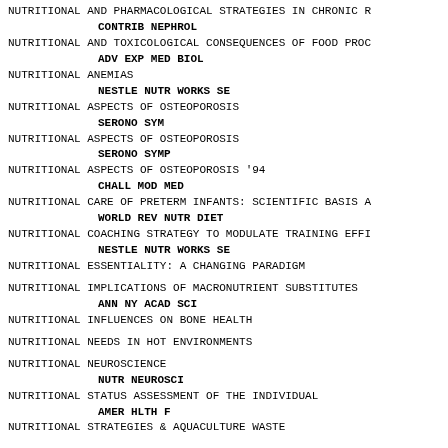NUTRITIONAL AND PHARMACOLOGICAL STRATEGIES IN CHRONIC R
    CONTRIB NEPHROL
NUTRITIONAL AND TOXICOLOGICAL CONSEQUENCES OF FOOD PROC
    ADV EXP MED BIOL
NUTRITIONAL ANEMIAS
    NESTLE NUTR WORKS SE
NUTRITIONAL ASPECTS OF OSTEOPOROSIS
    SERONO SYM
NUTRITIONAL ASPECTS OF OSTEOPOROSIS
    SERONO SYMP
NUTRITIONAL ASPECTS OF OSTEOPOROSIS '94
    CHALL MOD MED
NUTRITIONAL CARE OF PRETERM INFANTS: SCIENTIFIC BASIS A
    WORLD REV NUTR DIET
NUTRITIONAL COACHING STRATEGY TO MODULATE TRAINING EFFI
    NESTLE NUTR WORKS SE
NUTRITIONAL ESSENTIALITY: A CHANGING PARADIGM
NUTRITIONAL IMPLICATIONS OF MACRONUTRIENT SUBSTITUTES
    ANN NY ACAD SCI
NUTRITIONAL INFLUENCES ON BONE HEALTH
NUTRITIONAL NEEDS IN HOT ENVIRONMENTS
NUTRITIONAL NEUROSCIENCE
    NUTR NEUROSCI
NUTRITIONAL STATUS ASSESSMENT OF THE INDIVIDUAL
    AMER HLTH F
NUTRITIONAL STRATEGIES & AQUACULTURE WASTE